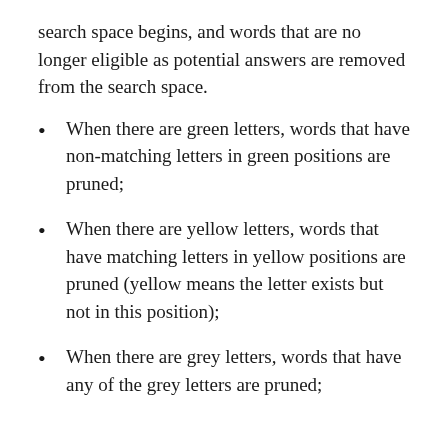search space begins, and words that are no longer eligible as potential answers are removed from the search space.
When there are green letters, words that have non-matching letters in green positions are pruned;
When there are yellow letters, words that have matching letters in yellow positions are pruned (yellow means the letter exists but not in this position);
When there are grey letters, words that have any of the grey letters are pruned;